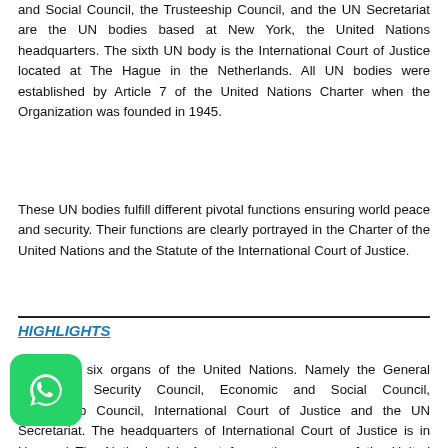and Social Council, the Trusteeship Council, and the UN Secretariat are the UN bodies based at New York, the United Nations headquarters. The sixth UN body is the International Court of Justice located at The Hague in the Netherlands. All UN bodies were established by Article 7 of the United Nations Charter when the Organization was founded in 1945.
These UN bodies fulfill different pivotal functions ensuring world peace and security. Their functions are clearly portrayed in the Charter of the United Nations and the Statute of the International Court of Justice.
HIGHLIGHTS
There are six organs of the United Nations. Namely the General Assembly, Security Council, Economic and Social Council, Trusteeship Council, International Court of Justice and the UN Secretariat. The headquarters of International Court of Justice is in Hague ( The Netherlands). Apart from other organs of the United Nations is based in New York, USA.
[Figure (logo): WhatsApp messenger icon — green rounded square with white phone handset silhouette]